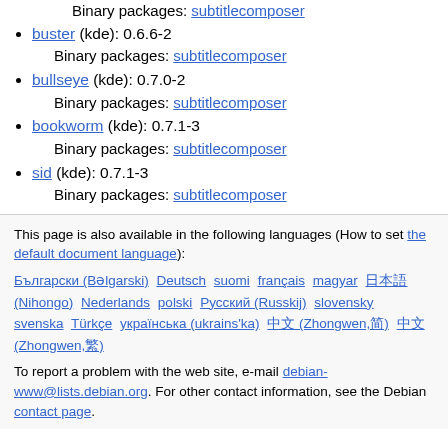Binary packages: subtitlecomposer
buster (kde): 0.6.6-2
Binary packages: subtitlecomposer
bullseye (kde): 0.7.0-2
Binary packages: subtitlecomposer
bookworm (kde): 0.7.1-3
Binary packages: subtitlecomposer
sid (kde): 0.7.1-3
Binary packages: subtitlecomposer
This page is also available in the following languages (How to set the default document language):
Български (Bəlgarski) Deutsch suomi français magyar 日本語 (Nihongo) Nederlands polski Русский (Russkij) slovensky svenska Türkçe українська (ukrains'ka) 中文 (Zhongwen,简) 中文 (Zhongwen,繁)
To report a problem with the web site, e-mail debian-www@lists.debian.org. For other contact information, see the Debian contact page.